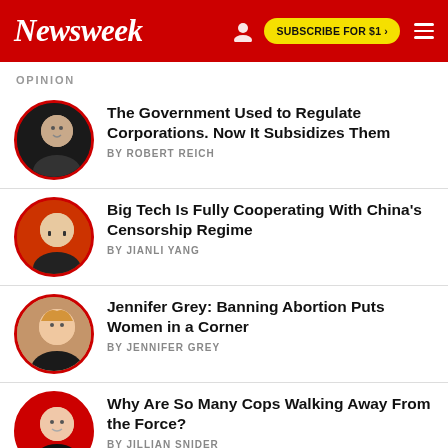Newsweek | SUBSCRIBE FOR $1 >
OPINION
The Government Used to Regulate Corporations. Now It Subsidizes Them
BY ROBERT REICH
Big Tech Is Fully Cooperating With China's Censorship Regime
BY JIANLI YANG
Jennifer Grey: Banning Abortion Puts Women in a Corner
BY JENNIFER GREY
Why Are So Many Cops Walking Away From the Force?
BY JILLIAN SNIDER